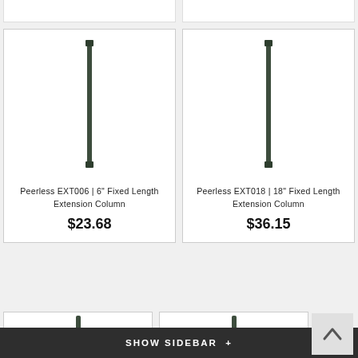[Figure (photo): Partial top of product cards from previous row, cut off at top of page]
[Figure (photo): Peerless EXT006 6-inch Fixed Length Extension Column product photo - dark grey vertical rod]
Peerless EXT006 | 6" Fixed Length Extension Column
$23.68
[Figure (photo): Peerless EXT018 18-inch Fixed Length Extension Column product photo - dark grey vertical rod, taller]
Peerless EXT018 | 18" Fixed Length Extension Column
$36.15
[Figure (photo): Partial bottom product cards, cut off at bottom of page]
SHOW SIDEBAR +